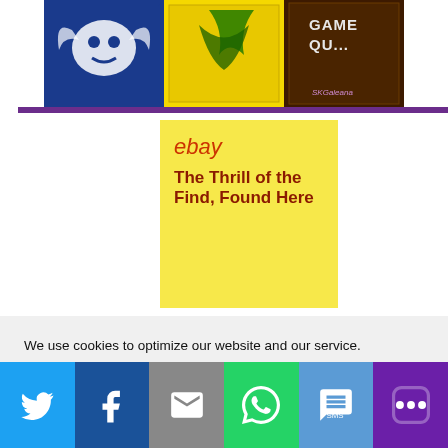[Figure (photo): Crochet/knit squares with gaming-themed designs (character face on blue, green on yellow, 'GAME QU...' text on brown) with 'SKGaleana' watermark]
[Figure (illustration): eBay advertisement on yellow background with eBay logo and tagline 'The Thrill of the Find, Found Here']
We use cookies to optimize our website and our service.
Accept
[Figure (infographic): Social sharing bar with Twitter, Facebook, Email, WhatsApp, SMS, and More buttons]